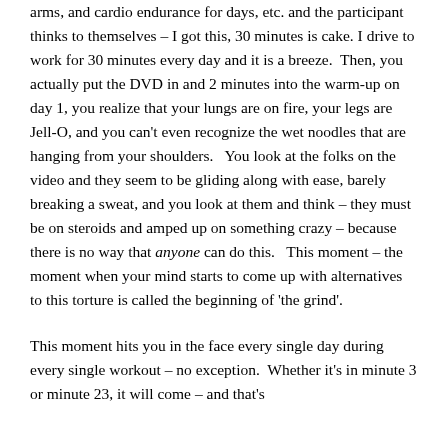arms, and cardio endurance for days, etc. and the participant thinks to themselves – I got this, 30 minutes is cake. I drive to work for 30 minutes every day and it is a breeze.  Then, you actually put the DVD in and 2 minutes into the warm-up on day 1, you realize that your lungs are on fire, your legs are Jell-O, and you can't even recognize the wet noodles that are hanging from your shoulders.   You look at the folks on the video and they seem to be gliding along with ease, barely breaking a sweat, and you look at them and think – they must be on steroids and amped up on something crazy – because there is no way that anyone can do this.   This moment – the moment when your mind starts to come up with alternatives to this torture is called the beginning of 'the grind'.
This moment hits you in the face every single day during every single workout – no exception.  Whether it's in minute 3 or minute 23, it will come – and that's